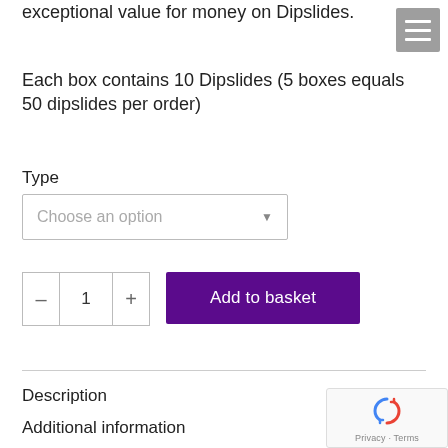exceptional value for money on Dipslides.
Each box contains 10 Dipslides (5 boxes equals 50 dipslides per order)
Type
Choose an option
Add to basket
Description
Additional information